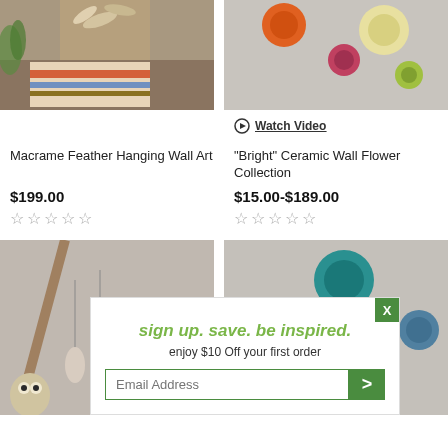[Figure (photo): Macrame feather hanging wall art product photo - woven textile wall art with feathers and striped pillow in background]
[Figure (photo): Bright ceramic wall flower collection product photo - colorful flower decorations on neutral background]
Watch Video
Macrame Feather Hanging Wall Art
"Bright" Ceramic Wall Flower Collection
$199.00
$15.00-$189.00
[Figure (photo): Bottom left product photo - decorative hanging with natural branch and feather ornaments]
[Figure (photo): Bottom right product photo - ceramic wall flower collection in teal, green, red, and gray tones]
sign up. save. be inspired.
enjoy $10 Off your first order
Email Address